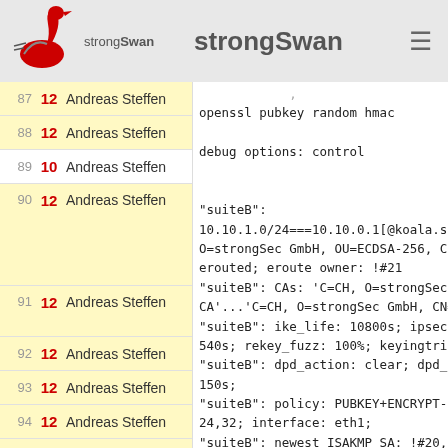strongSwan
| # | Count | Author | Code/Description |
| --- | --- | --- | --- |
| 87 | 12 | Andreas Steffen | openssl pubkey random hmac |
| 88 | 12 | Andreas Steffen | debug options: control |
| 89 | 10 | Andreas Steffen |  |
| 90 | 12 | Andreas Steffen | "suiteB": 10.10.1.0/24===10.10.0.1[@koala.str O=strongSec GmbH, OU=ECDSA-256, CN= erouted; eroute owner: !#21 |
| 91 | 12 | Andreas Steffen | "suiteB":   CAs: 'C=CH, O=strongSec CA'...'C=CH, O=strongSec GmbH, CN=s |
| 92 | 12 | Andreas Steffen | "suiteB":   ike_life: 10800s; ipsec 540s; rekey_fuzz: 100%; keyingtries |
| 93 | 12 | Andreas Steffen | "suiteB":   dpd_action: clear; dpd_ 150s; |
| 94 | 12 | Andreas Steffen | "suiteB":   policy: PUBKEY+ENCRYPT- 24,32; interface: eth1; |
| 95 | 12 | Andreas Steffen | "suiteB":   newest ISAKMP SA: !#20, |
| 96 | 12 | Andreas Steffen | "suiteB":   IKE proposal: AES_CBC_ |
| 97 | 12 | Andreas Steffen | "suiteB":   ESP proposal: AES_GCM_ |
| 98 | 12 | Andreas Steffen |  |
|  |  |  | !#21: "suiteB" STATE_QUICK_R2 (IPs |